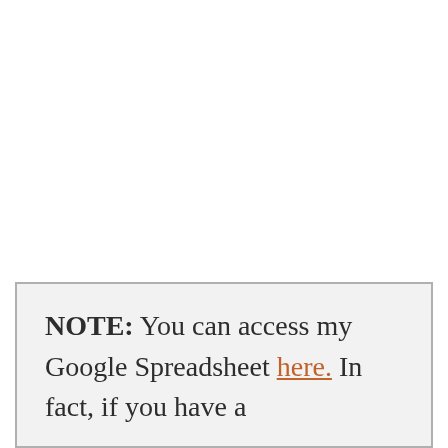NOTE: You can access my Google Spreadsheet here. In fact, if you have a